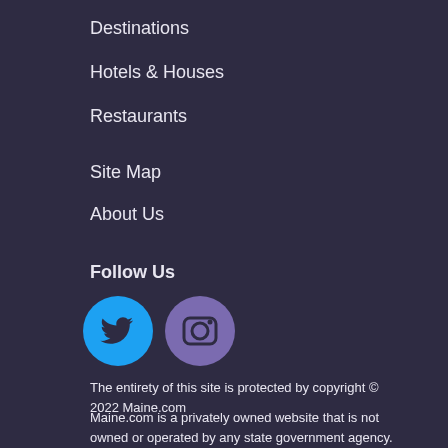Destinations
Hotels & Houses
Restaurants
Site Map
About Us
Follow Us
[Figure (other): Twitter bird icon in a cyan circle and Instagram camera icon in a purple circle]
The entirety of this site is protected by copyright © 2022 Maine.com
Maine.com is a privately owned website that is not owned or operated by any state government agency.